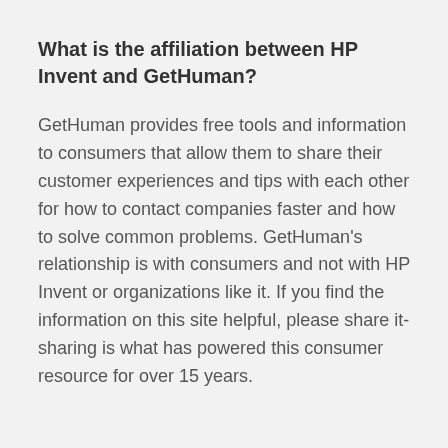What is the affiliation between HP Invent and GetHuman?
GetHuman provides free tools and information to consumers that allow them to share their customer experiences and tips with each other for how to contact companies faster and how to solve common problems. GetHuman's relationship is with consumers and not with HP Invent or organizations like it. If you find the information on this site helpful, please share it- sharing is what has powered this consumer resource for over 15 years.